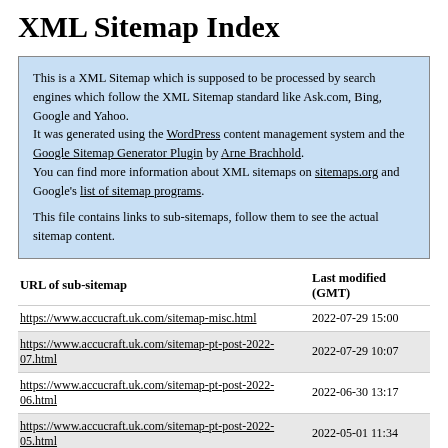XML Sitemap Index
This is a XML Sitemap which is supposed to be processed by search engines which follow the XML Sitemap standard like Ask.com, Bing, Google and Yahoo.
It was generated using the WordPress content management system and the Google Sitemap Generator Plugin by Arne Brachhold.
You can find more information about XML sitemaps on sitemaps.org and Google's list of sitemap programs.

This file contains links to sub-sitemaps, follow them to see the actual sitemap content.
| URL of sub-sitemap | Last modified (GMT) |
| --- | --- |
| https://www.accucraft.uk.com/sitemap-misc.html | 2022-07-29 15:00 |
| https://www.accucraft.uk.com/sitemap-pt-post-2022-07.html | 2022-07-29 10:07 |
| https://www.accucraft.uk.com/sitemap-pt-post-2022-06.html | 2022-06-30 13:17 |
| https://www.accucraft.uk.com/sitemap-pt-post-2022-05.html | 2022-05-01 11:34 |
| https://www.accucraft.uk.com/sitemap-pt-post-2022-03.html | 2022-04-01 08:25 |
| https://www.accucraft.uk.com/sitemap-pt-post-2022-02.html | 2022-02-09 14:55 |